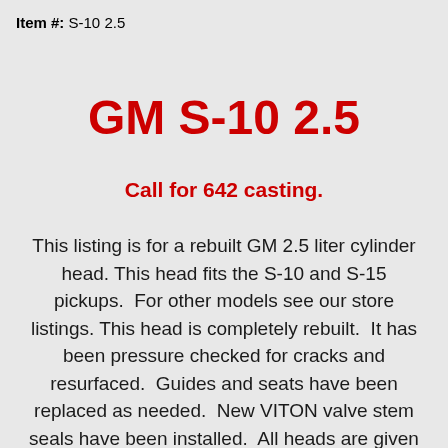Item #:  S-10 2.5
GM S-10 2.5
Call for 642 casting.
This listing is for a rebuilt GM 2.5 liter cylinder head. This head fits the S-10 and S-15 pickups.  For other models see our store listings. This head is completely rebuilt.  It has been pressure checked for cracks and resurfaced.  Guides and seats have been replaced as needed.  New VITON valve stem seals have been installed.  All heads are given a three angle valve job.  All valves have been vacuum checked to ensure proper sealing.